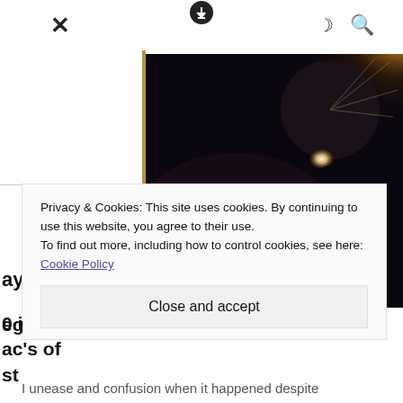× [download icon] ☽ 🔍
[Figure (photo): Solar eclipse photograph: dark circular moon occulting the sun with bright corona visible at upper right against a black sky. Lens flare present in lower portion.]
Privacy & Cookies: This site uses cookies. By continuing to use this website, you agree to their use.
To find out more, including how to control cookies, see here: Cookie Policy
Close and accept
I unease and confusion when it happened despite